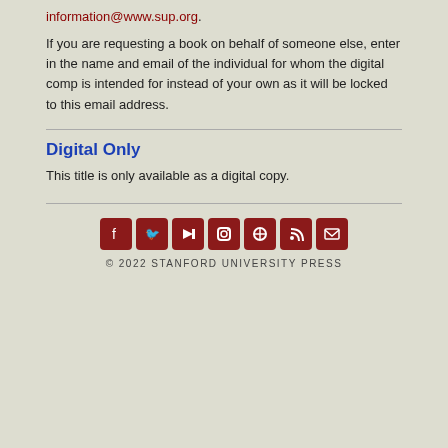information@www.sup.org.
If you are requesting a book on behalf of someone else, enter in the name and email of the individual for whom the digital comp is intended for instead of your own as it will be locked to this email address.
Digital Only
This title is only available as a digital copy.
© 2022 STANFORD UNIVERSITY PRESS